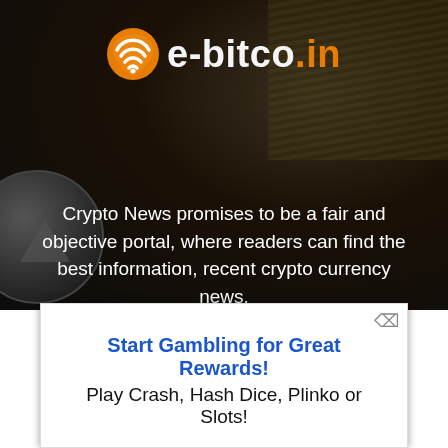[Figure (logo): e-bitco.in logo with orange wifi-style icon and text in white/orange]
Crypto News promises to be a fair and objective portal, where readers can find the best information, recent crypto currency news.
Contact us: ebitcoinsite@gmail.com
[Figure (screenshot): White advertisement banner with close button]
Start Gambling for Great Rewards!
Play Crash, Hash Dice, Plinko or Slots!